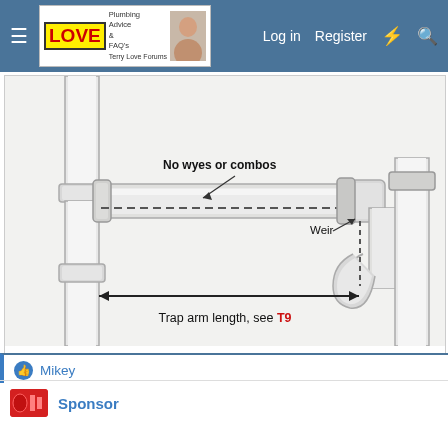Terry Love Plumbing Forums — Log in  Register
[Figure (engineering-diagram): Plumbing diagram showing a trap arm with labels: 'No wyes or combos' pointing to the horizontal pipe, a dashed line indicating the trap weir elevation, 'Weir' label pointing to the weir point, and a double-headed arrow labeled 'Trap arm length, see T9' showing the span of the trap arm. The diagram shows a P-trap connected to vertical drain pipes.]
The length and slope of the trap arm must allow air to be admitted above the dotted line in the figure. If the slope or length are excessive, the dotted line (trap weir elevation) would be above the vent opening.
Mikey
Sponsor